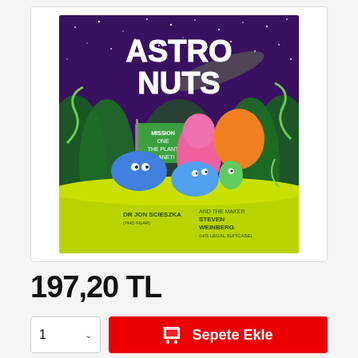[Figure (photo): Book cover of 'AstroNuts Mission One: The Plant Planet' by Jon Scieszka and Steven Weinberg, showing cartoon alien animals on a yellow-green planet surface against a purple starry sky.]
197,20 TL
1
Sepete Ekle